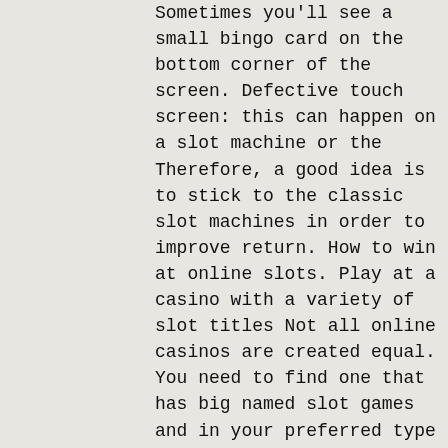Sometimes you'll see a small bingo card on the bottom corner of the screen. Defective touch screen: this can happen on a slot machine or the Therefore, a good idea is to stick to the classic slot machines in order to improve return. How to win at online slots. Play at a casino with a variety of slot titles Not all online casinos are created equal. You need to find one that has big named slot games and in your preferred type of genre, game of skill touch screen slot machine.
Today's casino winners:
Aloha Cluster Pays - 402.3 usdt
Maniac House - 116.1 ltc
Indiana's Quest - 607.8 dog
Eastern Goddesses - 488.9 eth
Judges Rule the Show - 392.9 usdt
Mafia - 550.6 eth
Musketeer Slot - 196 bch